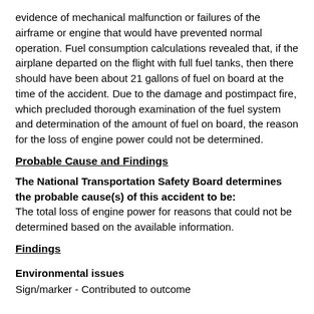evidence of mechanical malfunction or failures of the airframe or engine that would have prevented normal operation. Fuel consumption calculations revealed that, if the airplane departed on the flight with full fuel tanks, then there should have been about 21 gallons of fuel on board at the time of the accident. Due to the damage and postimpact fire, which precluded thorough examination of the fuel system and determination of the amount of fuel on board, the reason for the loss of engine power could not be determined.
Probable Cause and Findings
The National Transportation Safety Board determines the probable cause(s) of this accident to be: The total loss of engine power for reasons that could not be determined based on the available information.
Findings
Environmental issues
Sign/marker - Contributed to outcome